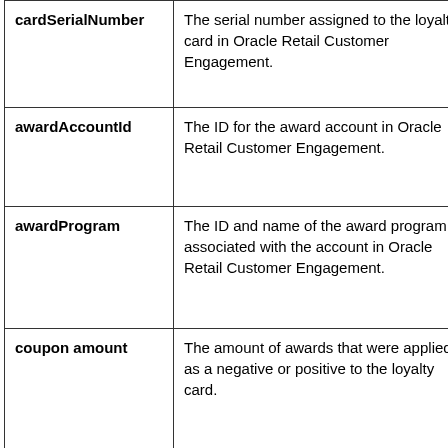| Field | Description |
| --- | --- |
| cardSerialNumber | The serial number assigned to the loyalty card in Oracle Retail Customer Engagement. |
| awardAccountId | The ID for the award account in Oracle Retail Customer Engagement. |
| awardProgram | The ID and name of the award program associated with the account in Oracle Retail Customer Engagement. |
| coupon amount | The amount of awards that were applied as a negative or positive to the loyalty card. |
| coupon ID | The ID of the coupon associated with the award coupon activity. |
| transactionType |  |